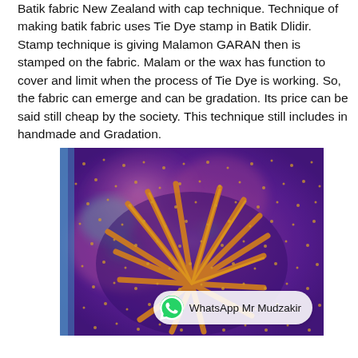Batik fabric New Zealand with cap technique. Technique of making batik fabric uses Tie Dye stamp in Batik Dlidir. Stamp technique is giving Malamon GARAN then is stamped on the fabric. Malam or the wax has function to cover and limit when the process of Tie Dye is working. So, the fabric can emerge and can be gradation. Its price can be said still cheap by the society. This technique still includes in handmade and Gradation.
[Figure (photo): Close-up photograph of batik fabric with tie-dye technique showing purple, pink, orange, and teal patterns with yellow-orange brush strokes and small dot patterns throughout.]